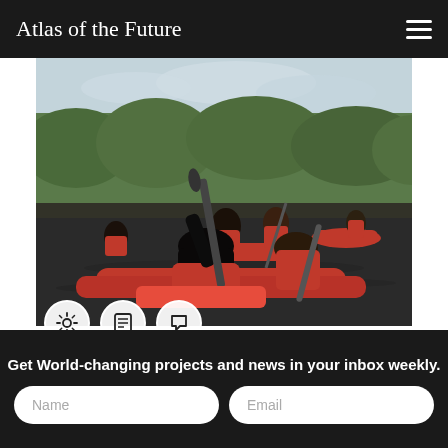Atlas of the Future
[Figure (photo): People paddling red canoes on a dark river with lush green vegetation in the background on a cloudy day]
In the state of Lousiana, the coastline abutting the Gulf of Mexico is disappearing at an alarming rate due in
Get World-changing projects and news in your inbox weekly.